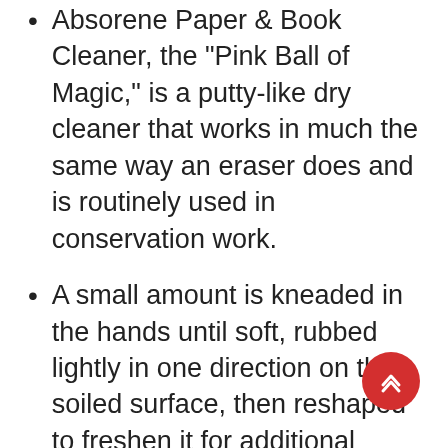Absorene Paper & Book Cleaner, the "Pink Ball of Magic," is a putty-like dry cleaner that works in much the same way an eraser does and is routinely used in conservation work.
A small amount is kneaded in the hands until soft, rubbed lightly in one direction on the soiled surface, then reshaped to freshen it for additional cleaning.
Crumbs will be produced here as well. Because it conforms to the shape of the surface being cleaned, Absorene may also be useful for removing dust or dirt from text block edges.
Non-toxic putty-like cleaner is perfect for use on paper, dust jackets, book covers and book edges. Roll it gently in one direction and